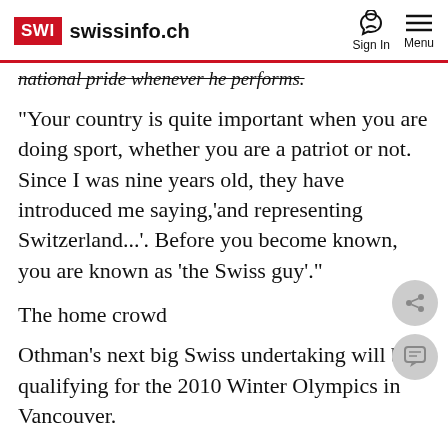SWI swissinfo.ch | Sign In | Menu
national pride whenever he performs.
"Your country is quite important when you are doing sport, whether you are a patriot or not. Since I was nine years old, they have introduced me saying,'and representing Switzerland...'. Before you become known, you are known as 'the Swiss guy'."
The home crowd
Othman's next big Swiss undertaking will be qualifying for the 2010 Winter Olympics in Vancouver.
To make the grade, he will have to place among